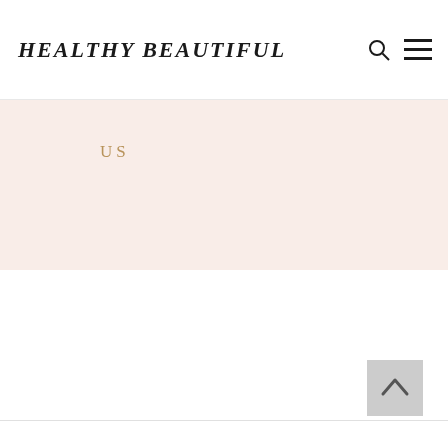HEALTHY BEAUTIFUL
US
[Figure (other): Gray back-to-top button with upward chevron arrow]